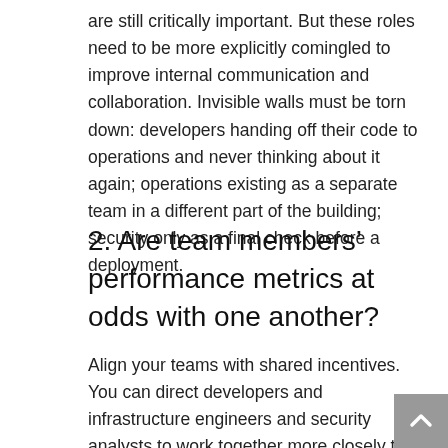are still critically important. But these roles need to be more explicitly comingled to improve internal communication and collaboration. Invisible walls must be torn down: developers handing off their code to operations and never thinking about it again; operations existing as a separate team in a different part of the building; security only as a final check before a deployment.
2. Are team members' performance metrics at odds with one another?
Align your teams with shared incentives. You can direct developers and infrastructure engineers and security analysts to work together more closely than before, for example, but that will only go so far if their